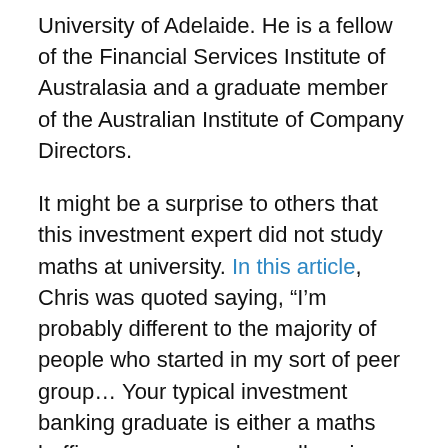University of Adelaide. He is a fellow of the Financial Services Institute of Australasia and a graduate member of the Australian Institute of Company Directors.
It might be a surprise to others that this investment expert did not study maths at university. In this article, Chris was quoted saying, “I’m probably different to the majority of people who started in my sort of peer group… Your typical investment banking graduate is either a maths boffin or someone who really enjoys the quantitative side.”
Before his career in banking and investment